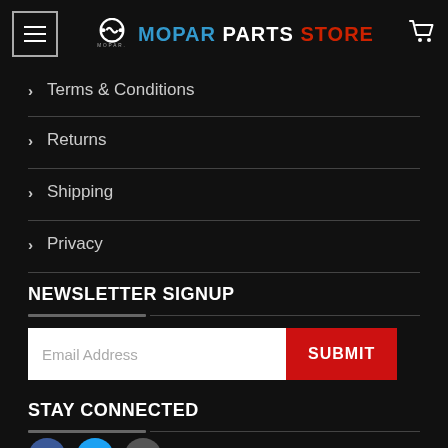MOPAR PARTS STORE
> Terms & Conditions
> Returns
> Shipping
> Privacy
NEWSLETTER SIGNUP
Email Address  SUBMIT
STAY CONNECTED